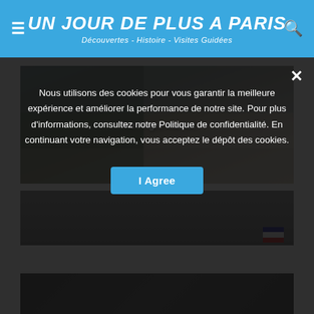UN JOUR DE PLUS A PARIS — Découvertes - Histoire - Visites Guidées
[Figure (photo): Street market scene showing The Aligre Market with people shopping at outdoor stalls in Paris]
Nous utilisons des cookies pour vous garantir la meilleure expérience et améliorer la performance de notre site. Pour plus d'informations, consultez notre Politique de confidentialité. En continuant votre navigation, vous acceptez le dépôt des cookies.
[Figure (screenshot): Cookie consent overlay with I Agree button]
[Figure (photo): Partial view of a second Paris street/building image]